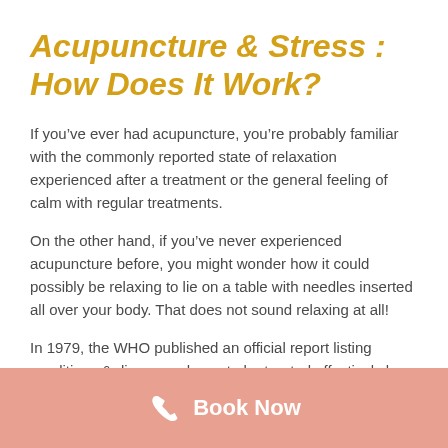Acupuncture & Stress : How Does It Work?
If you’ve ever had acupuncture, you’re probably familiar with the commonly reported state of relaxation experienced after a treatment or the general feeling of calm with regular treatments.
On the other hand, if you’ve never experienced acupuncture before, you might wonder how it could possibly be relaxing to lie on a table with needles inserted all over your body. That does not sound relaxing at all!
In 1979, the WHO published an official report listing conditions & diseases shown to be treated effectively by Acupuncture. Chronic stress was among the listed
Book Now